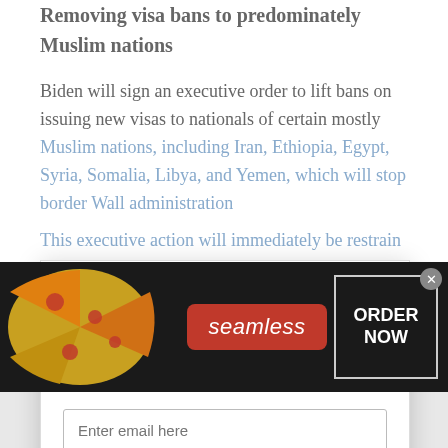Removing visa bans to predominately Muslim nations
Biden will sign an executive order to lift bans on issuing new visas to nationals of certain mostly Muslim nations, including Iran, Ethiopia, Egypt, Syria, Somalia, Libya, and Yemen, which will stop border Wall administration
This executive action will immediately be... restrain Washington year aron by... t... allowed Trump Constitutional action the
[Figure (screenshot): Newsletter subscription modal overlay with title 'Subscribe to the Sesh Urban Report newsletter!', email input field, first name input field, and a submit button. Has an X close button in top right.]
[Figure (screenshot): Seamless food delivery advertisement banner with pizza image on left, red Seamless logo pill in center, and 'ORDER NOW' button on right with a close X button.]